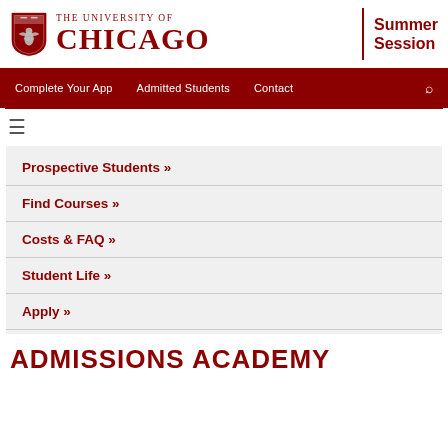[Figure (logo): University of Chicago shield logo with maroon phoenix on white background, followed by 'THE UNIVERSITY OF CHICAGO' text and 'Summer Session' text separated by a vertical line]
Complete Your App   Admitted Students   Contact
Prospective Students »
Find Courses »
Costs & FAQ »
Student Life »
Apply »
ADMISSIONS ACADEMY